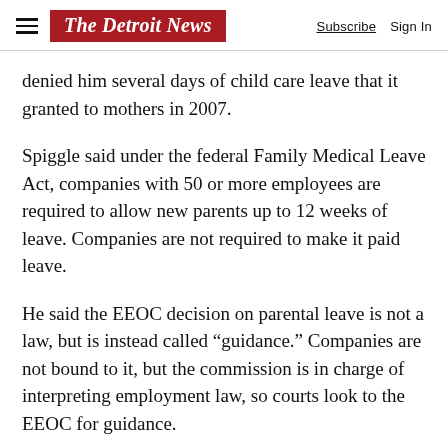The Detroit News — Subscribe  Sign In
denied him several days of child care leave that it granted to mothers in 2007.
Spiggle said under the federal Family Medical Leave Act, companies with 50 or more employees are required to allow new parents up to 12 weeks of leave. Companies are not required to make it paid leave.
He said the EEOC decision on parental leave is not a law, but is instead called “guidance.” Companies are not bound to it, but the commission is in charge of interpreting employment law, so courts look to the EEOC for guidance.